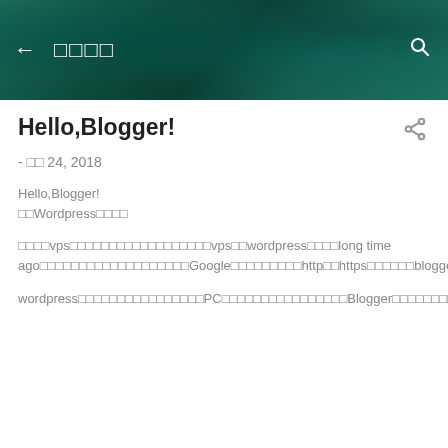← □□□□  🔍
Hello,Blogger!
- □□ 24, 2018
Hello,Blogger!
□□Wordpress□□□□

□□□□vps□□□□□□□□□□□□□□□□□□vps□□wordpress□□□□long time ago□□□□□□□□□□□□□□□□□□□□□Google□□□□□□□□□□□□http□□https□□□□□□blogger□□□□□□□□□□□□https□□□□□□□□□□□□blogger□□

wordpress□□□□□□□□□□□□□□□□PC□□□□□□□□□□□□□□□□Blogger□□□□□□□□□□□□□□□□□□□□□□□□so......□□□□□